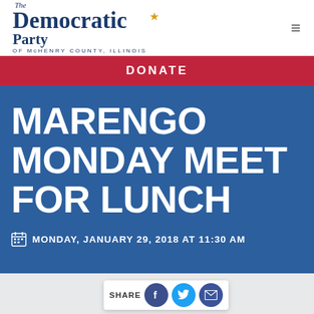The Democratic Party of McHenry County, Illinois
DONATE
MARENGO MONDAY MEET FOR LUNCH
MONDAY, JANUARY 29, 2018 AT 11:30 AM
HOME / EVENTS / DINNERS, FUNDRAISERS & PARADES / MARENGO MONDAY MEET FOR LUNCH